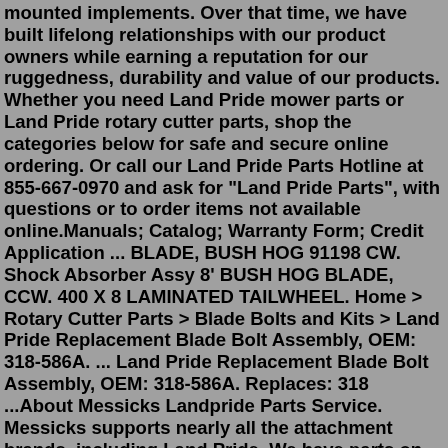mounted implements. Over that time, we have built lifelong relationships with our product owners while earning a reputation for our ruggedness, durability and value of our products. Whether you need Land Pride mower parts or Land Pride rotary cutter parts, shop the categories below for safe and secure online ordering. Or call our Land Pride Parts Hotline at 855-667-0970 and ask for "Land Pride Parts", with questions or to order items not available online.Manuals; Catalog; Warranty Form; Credit Application ... BLADE, BUSH HOG 91198 CW. Shock Absorber Assy 8' BUSH HOG BLADE, CCW. 400 X 8 LAMINATED TAILWHEEL. Home > Rotary Cutter Parts > Blade Bolts and Kits > Land Pride Replacement Blade Bolt Assembly, OEM: 318-586A. ... Land Pride Replacement Blade Bolt Assembly, OEM: 318-586A. Replaces: 318 ...About Messicks Landpride Parts Service. Messicks supports nearly all the attachment brands, including Land Pride. We have parts on hand and experienced technicians to help you find the right part now. Most order are filled